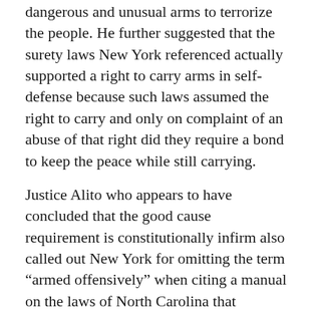dangerous and unusual arms to terrorize the people. He further suggested that the surety laws New York referenced actually supported a right to carry arms in self-defense because such laws assumed the right to carry and only on complaint of an abuse of that right did they require a bond to keep the peace while still carrying.
Justice Alito who appears to have concluded that the good cause requirement is constitutionally infirm also called out New York for omitting the term “armed offensively” when citing a manual on the laws of North Carolina that appeared to call for the arrest of persons going armed. New York’s response was that firearms are inherently offensive. By the way, New York was not alone in making these types of omissions. Amici in support of New York made similar questionable omissions when quoting historical resources. Justice